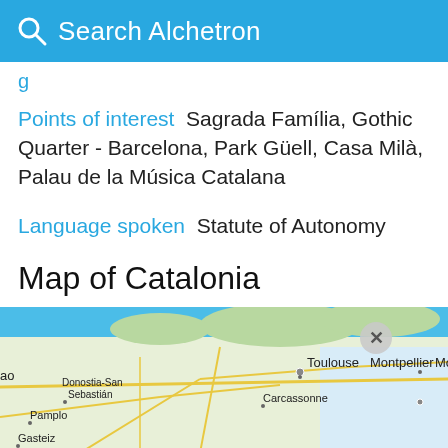Search Alchetron
g
Points of interest  Sagrada Família, Gothic Quarter - Barcelona, Park Güell, Casa Milà, Palau de la Música Catalana
Language spoken  Statute of Autonomy
Map of Catalonia
[Figure (map): Map showing Catalonia region with labels including Toulouse, Montpellier, Carcassonne, Donostia-San Sebastián, Pamplo[na], Gasteiz, and partial 'Mo' label. Shows roads and terrain in standard Google Maps style.]
[Figure (photo): Advertisement banner for MAC cosmetics showing lipsticks in purple, pink, and red colors with MAC logo and SHOP NOW button and id-19 label in red.]